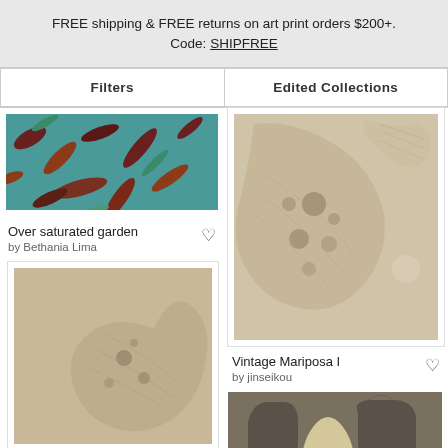FREE shipping & FREE returns on art print orders $200+. Code: SHIPFREE
Filters
Edited Collections
[Figure (photo): Cropped art print showing colorful tropical botanical pattern with teal, dark red and brown leaves]
Over saturated garden
by Bethania Lima
[Figure (photo): Art print showing close-up of a butterfly wing in sepia/beige tones with spots, framed in white]
[Figure (photo): Art print showing close-up of a butterfly wing in sepia/beige tones, right side, with spots and feathered texture in vintage style]
Vintage Mariposa I
by jinseikou
[Figure (photo): Abstract art print with organic rounded shapes in taupe, warm gray, and cream/beige on a brown background]